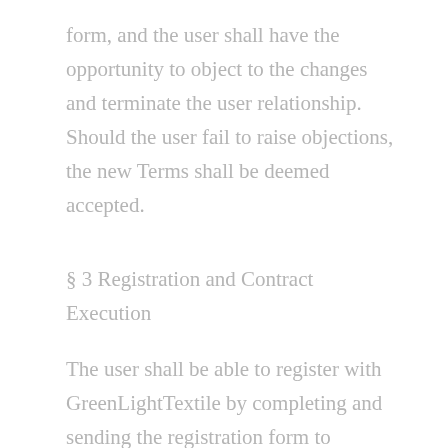form, and the user shall have the opportunity to object to the changes and terminate the user relationship. Should the user fail to raise objections, the new Terms shall be deemed accepted.
§ 3 Registration and Contract Execution
The user shall be able to register with GreenLightTextile by completing and sending the registration form to GreenLightTextile. Upon registration, the user shall accept the specific order terms and the Terms. The registration as a user and the permission to utilize the platform shall be affected upon receipt of the registration form by GreenLightTextile through a relevant declaration to the user via e-mail and/or post and activation of the user name and password in the system. The